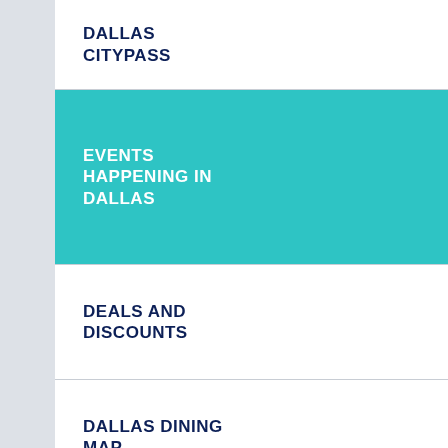DALLAS CITYPASS
EVENTS HAPPENING IN DALLAS
DEALS AND DISCOUNTS
DALLAS DINING MAP
AT&T DISCOVERY DISTRICT
COVID 19 UPDATES